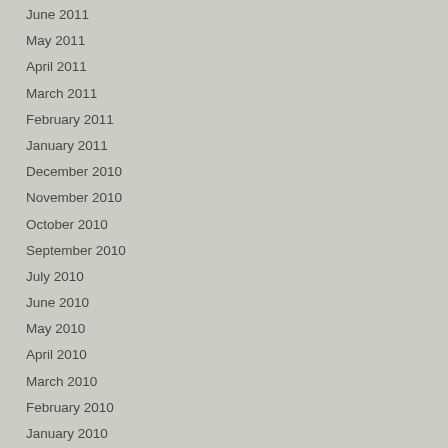June 2011
May 2011
April 2011
March 2011
February 2011
January 2011
December 2010
November 2010
October 2010
September 2010
July 2010
June 2010
May 2010
April 2010
March 2010
February 2010
January 2010